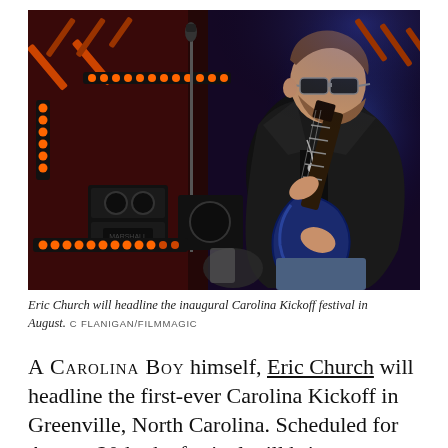[Figure (photo): Eric Church performing on stage, playing a blue electric guitar, wearing a black leather jacket and sunglasses, with orange stage lights and microphone stand visible in background.]
Eric Church will headline the inaugural Carolina Kickoff festival in August. C FLANIGAN/FILMMAGIC
A CAROLINA BOY himself, Eric Church will headline the first-ever Carolina Kickoff in Greenville, North Carolina. Scheduled for August 20th, the festival will bring as many as 50,000